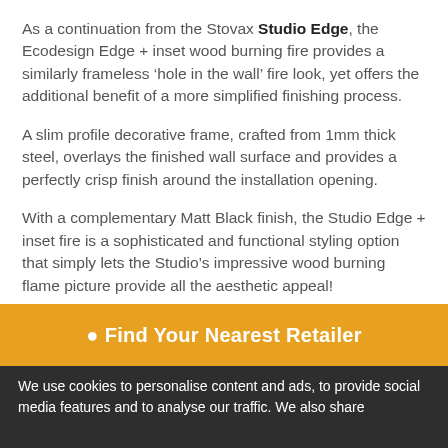As a continuation from the Stovax Studio Edge, the Ecodesign Edge + inset wood burning fire provides a similarly frameless ‘hole in the wall’ fire look, yet offers the additional benefit of a more simplified finishing process.
A slim profile decorative frame, crafted from 1mm thick steel, overlays the finished wall surface and provides a perfectly crisp finish around the installation opening.
With a complementary Matt Black finish, the Studio Edge + inset fire is a sophisticated and functional styling option that simply lets the Studio’s impressive wood burning flame picture provide all the aesthetic appeal!
Visit our Studio Inset Wood Burning Fires page for further information.
♥ Find Your Nearest Retailer
We use cookies to personalise content and ads, to provide social media features and to analyse our traffic. We also share